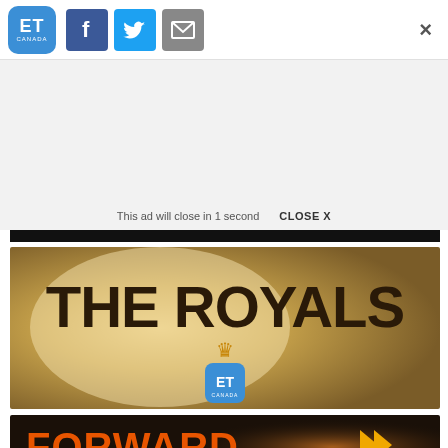[Figure (logo): ET Canada logo - blue rounded square with ET CANADA text]
[Figure (logo): Facebook share button - blue square with white f]
[Figure (logo): Twitter share button - light blue square with white bird]
[Figure (logo): Email share button - grey square with envelope icon]
×
This ad will close in 1 second
CLOSE X
[Figure (screenshot): THE ROYALS title card on gold/champagne gradient background with ET Canada logo and crown]
[Figure (screenshot): FORWARD show card with orange text on dark background - CELEBRATING THE FUTURE OF BLACK ENTERTAINMENT]